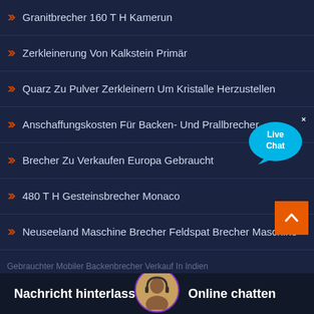Granitbrecher 160 T H Kamerun
Zerkleinerung Von Kalkstein Primär
Quarz Zu Pulver Zerkleinern Um Kristalle Herzustellen
Anschaffungskosten Für Backen- Und Prallbrecher
Brecher Zu Verkaufen Europa Gebraucht
480 T H Gesteinsbrecher Monaco
Neuseeland Maschine Brecher Feldspat Brecher Maschine
Simbabwe 880 T H Kalksteinbrecher
Südafrika Mobile Brechstation Zu Verkaufen
Spezifisches Gewicht Von Kupferkonzentrat
Nachricht hinterlassen
Online chatten
Gebrauchter Mobiler Backenbrecher Verkauf In Indien